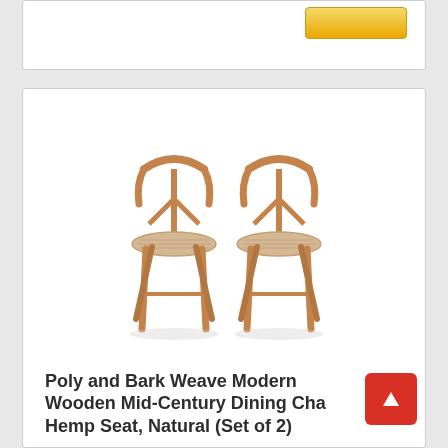[Figure (screenshot): Top portion of a product card with a gold/yellow button on the right side]
[Figure (photo): Two Poly and Bark Weave Modern Wooden Mid-Century Dining Chairs with hemp woven seats in natural wood color, facing slightly inward, shown against white background]
Poly and Bark Weave Modern Wooden Mid-Century Dining Cha Hemp Seat, Natural (Set of 2)